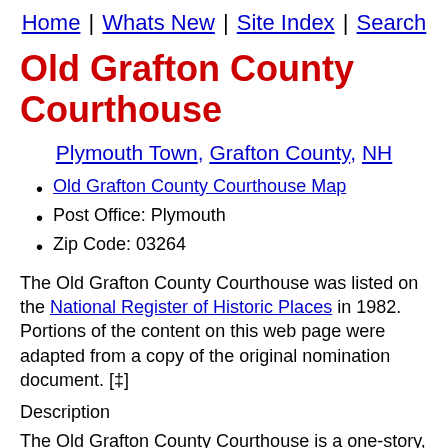Home | Whats New | Site Index | Search
Old Grafton County Courthouse
Plymouth Town, Grafton County, NH
Old Grafton County Courthouse Map
Post Office: Plymouth
Zip Code: 03264
The Old Grafton County Courthouse was listed on the National Register of Historic Places in 1982. Portions of the content on this web page were adapted from a copy of the original nomination document. [‡]
Description
The Old Grafton County Courthouse is a one-story, hip-roofed frame structure of square floor plan